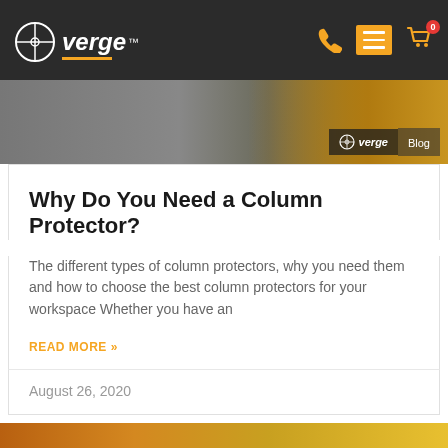verge — navigation header with logo, phone, menu, and cart icons
[Figure (photo): Hero banner image showing industrial warehouse with yellow column protector, with verge Blog badge in bottom right corner]
Why Do You Need a Column Protector?
The different types of column protectors, why you need them and how to choose the best column protectors for your workspace Whether you have an
READ MORE »
August 26, 2020
[Figure (photo): Bottom strip showing industrial warehouse shelving in orange/yellow tones]